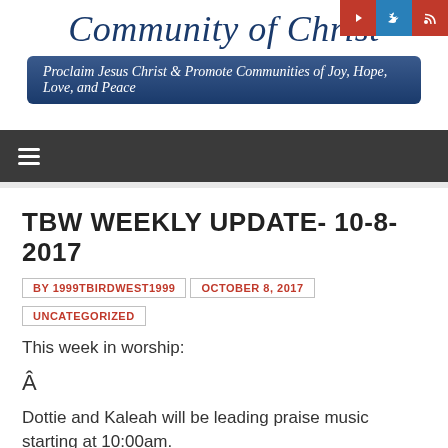Community of Christ
Proclaim Jesus Christ & Promote Communities of Joy, Hope, Love, and Peace
TBW WEEKLY UPDATE- 10-8-2017
BY 1999TBIRDWEST1999   OCTOBER 8, 2017   UNCATEGORIZED
This week in worship:
Â
Dottie and Kaleah will be leading praise music starting at 10:00am.